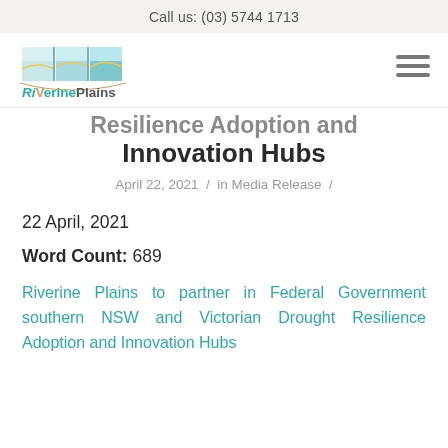Call us: (03) 5744 1713
[Figure (logo): Riverine Plains logo with teal landscape graphic and text 'RiVerinePlains']
Resilience Adoption and Innovation Hubs
April 22, 2021 / in Media Release /
22 April, 2021
Word Count: 689
Riverine Plains to partner in Federal Government southern NSW and Victorian Drought Resilience Adoption and Innovation Hubs